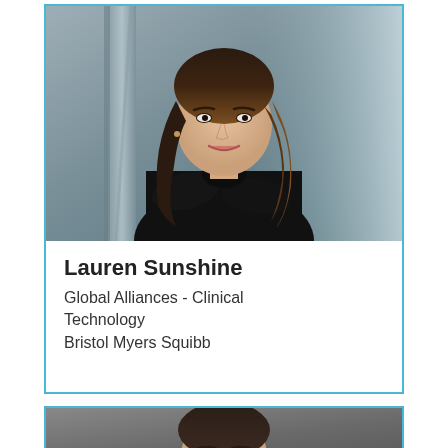[Figure (photo): Professional headshot photo of Lauren Sunshine, a woman with long dark brown hair, wearing a black turtleneck sweater, arms crossed, standing in an urban outdoor setting with blurred background showing metal pillars.]
Lauren Sunshine
Global Alliances - Clinical Technology
Bristol Myers Squibb
[Figure (photo): Professional headshot photo of a second person, partially visible, with dark hair, appearing in front of a gray background.]